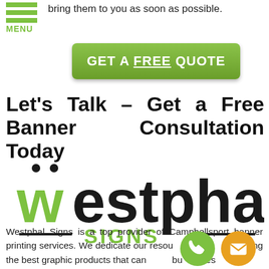bring them to you as soon as possible.
GET A FREE QUOTE
Let's Talk – Get a Free Banner Consultation Today
[Figure (logo): Westphal Signs logo with green and black lettering and decorative dashes]
Westphal Signs is a top provider of Campbellsport banner printing services. We dedicate our resources to getting the best graphic products that can bring your business